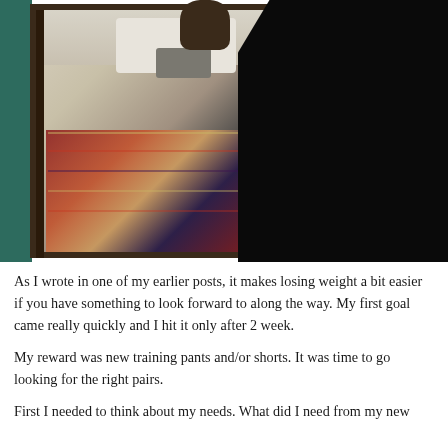[Figure (photo): A person wearing black leggings and an orange/rust top photographing themselves in a tall floor mirror. The room reflection shows white pillows, a patterned rug, and hardwood floors. A teal piece of furniture is visible on the left edge.]
As I wrote in one of my earlier posts, it makes losing weight a bit easier if you have something to look forward to along the way. My first goal came really quickly and I hit it only after 2 week.
My reward was new training pants and/or shorts. It was time to go looking for the right pairs.
First I needed to think about my needs. What did I need from my new products...?